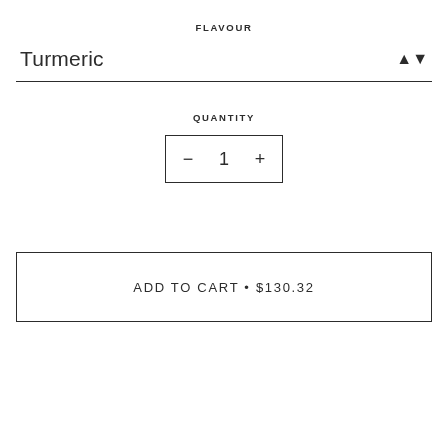FLAVOUR
Turmeric
QUANTITY
- 1 +
ADD TO CART • $130.32